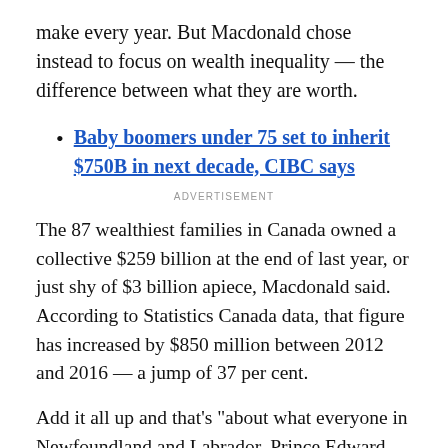make every year. But Macdonald chose instead to focus on wealth inequality — the difference between what they are worth.
Baby boomers under 75 set to inherit $750B in next decade, CIBC says
ADVERTISEMENT
The 87 wealthiest families in Canada owned a collective $259 billion at the end of last year, or just shy of $3 billion apiece, Macdonald said. According to Statistics Canada data, that figure has increased by $850 million between 2012 and 2016 — a jump of 37 per cent.
Add it all up and that's "about what everyone in Newfoundland and Labrador, Prince Edward Island and New Brunswick all own together," Macdonald said.